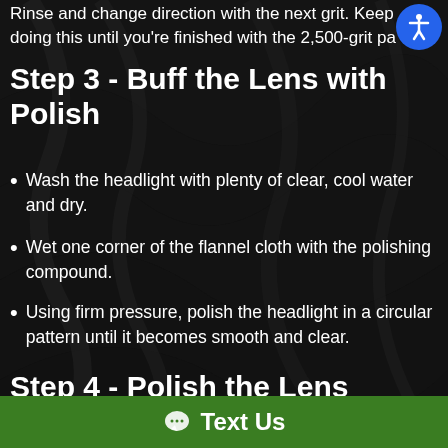Rinse and change direction with the next grit. Keep doing this until you're finished with the 2,500-grit pa…
Step 3 - Buff the Lens with Polish
Wash the headlight with plenty of clear, cool water and dry.
Wet one corner of the flannel cloth with the polishing compound.
Using firm pressure, polish the headlight in a circular pattern until it becomes smooth and clear.
Step 4 - Polish the Lens
Allow the polish to dry, then use the clean end of the cloth to buff off any polish residue.
Text Us